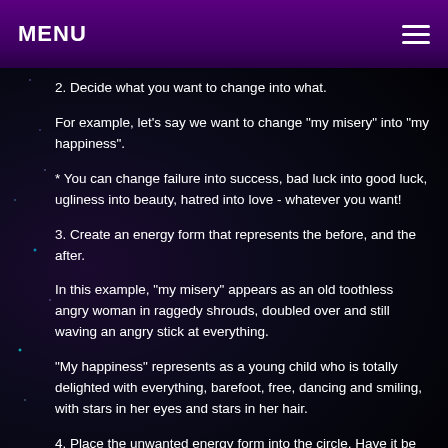MENU
2. Decide what you want to change into what.
For example, let's say we want to change "my misery" into "my happiness".
* You can change failure into success, bad luck into good luck, ugliness into beauty, hatred into love - whatever you want!
3. Create an energy form that represents the before, and the after.
In this example, "my misery" appears as an old toothless angry woman in raggedy shrouds, doubled over and still waving an angry stick at everything.
"My happiness" represents as a young child who is totally delighted with everything, barefoot, free, dancing and smiling, with stars in her eyes and stars in her hair.
4. Place the unwanted energy form into the circle. Have it be real. FEED IT with all your misery energy, all the examples of misery, FEED IT WITH ALL YOUR MISERY so it becomes very real, very steady, very powerfully resonant and strong (don't